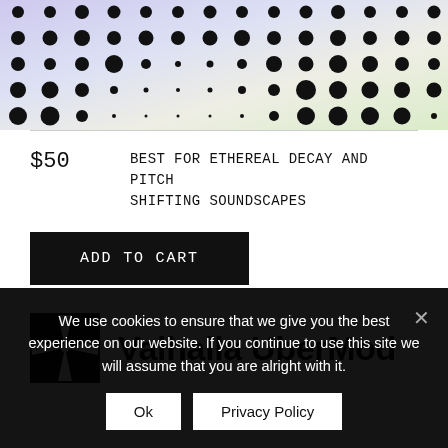[Figure (illustration): Halftone dot pattern banner with pastel gradient background (purple, lavender, yellow-green), black dots of varying sizes arranged in a grid pattern]
$50
BEST FOR ETHEREAL DECAY AND PITCH SHIFTING SOUNDSCAPES
ADD TO CART
[Figure (logo): Valhalla DSP logo: black square with white starburst/sunburst rays radiating from center]
Valhalla UberMod
We use cookies to ensure that we give you the best experience on our website. If you continue to use this site we will assume that you are alright with it.
Ok
Privacy Policy